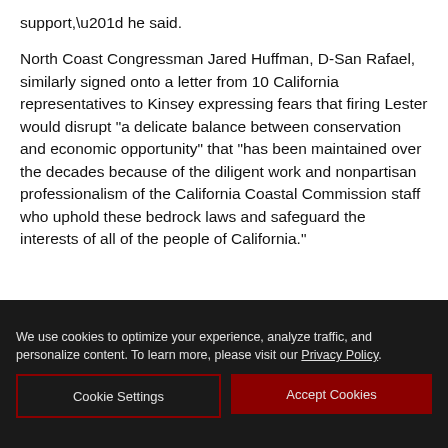support,” he said.
North Coast Congressman Jared Huffman, D-San Rafael, similarly signed onto a letter from 10 California representatives to Kinsey expressing fears that firing Lester would disrupt “a delicate balance between conservation and economic opportunity” that “has been maintained over the decades because of the diligent work and nonpartisan professionalism of the California Coastal Commission staff who uphold these bedrock laws and safeguard the interests of all of the people of California.”
We use cookies to optimize your experience, analyze traffic, and personalize content. To learn more, please visit our Privacy Policy.